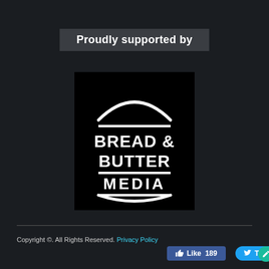Proudly supported by
[Figure (logo): Bread & Butter Media logo — white text and burger-bun graphic on black background]
Copyright ©. All Rights Reserved. Privacy Policy
[Figure (infographic): Facebook Like button showing 189 likes, Twitter Tweet button, and a green circular share button]